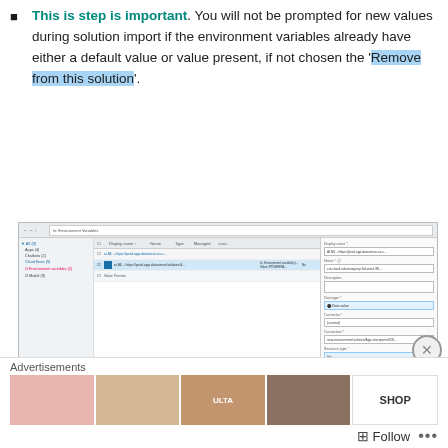This is step is important. You will not be prompted for new values during solution import if the environment variables already have either a default value or value present, if not chosen the 'Remove from this solution'.
[Figure (screenshot): Screenshot of Environment Variables settings panel showing a list of environment variables with one selected, and a right-side panel showing fields including Display name, Name, Description, Data type, Connector, Connection, Resource type fields, and a highlighted 'Remove from this solution' option in the Current value section.]
Repeat this step for the Environment variables...
Advertisements